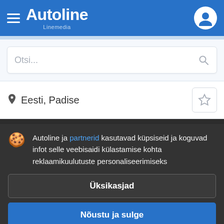Autoline Linemedia
Otsi...
Eesti, Padise
Autoline ja partnerid kasutavad küpsiseid ja koguvad infot selle veebisaidi külastamise kohta reklaamikuulutuste personaliseerimiseks
Üksikasjad
Nõustu ja sulge
Furgoonveok, Euro: Euro 6 Vedusus: pneumo/pneumo